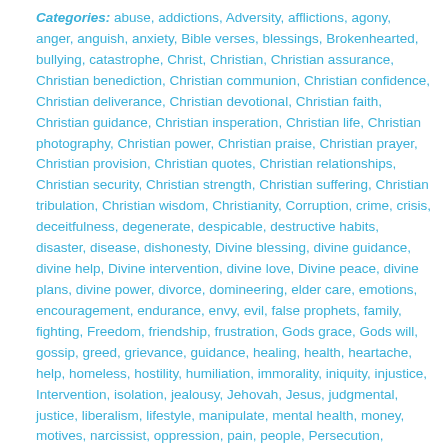Categories: abuse, addictions, Adversity, afflictions, agony, anger, anguish, anxiety, Bible verses, blessings, Brokenhearted, bullying, catastrophe, Christ, Christian, Christian assurance, Christian benediction, Christian communion, Christian confidence, Christian deliverance, Christian devotional, Christian faith, Christian guidance, Christian insperation, Christian life, Christian photography, Christian power, Christian praise, Christian prayer, Christian provision, Christian quotes, Christian relationships, Christian security, Christian strength, Christian suffering, Christian tribulation, Christian wisdom, Christianity, Corruption, crime, crisis, deceitfulness, degenerate, despicable, destructive habits, disaster, disease, dishonesty, Divine blessing, divine guidance, divine help, Divine intervention, divine love, Divine peace, divine plans, divine power, divorce, domineering, elder care, emotions, encouragement, endurance, envy, evil, false prophets, family, fighting, Freedom, friendship, frustration, Gods grace, Gods will, gossip, greed, grievance, guidance, healing, health, heartache, help, homeless, hostility, humiliation, immorality, iniquity, injustice, Intervention, isolation, jealousy, Jehovah, Jesus, judgmental, justice, liberalism, lifestyle, manipulate, mental health, money, motives, narcissist, oppression, pain, people, Persecution, politics, poverty, Prayer of Gratitude, prayer of love, prayer of thanksgiving, prayer of worship, Prayers Answered, praying, pretentious, pride, prison, problem, protection, provision, psychology, Quarrels, rebellion, relationships, remorseless, ruinous dispositions, scam, scripture, sickness, slaves, Sneaky, snobs, society, sorrow, storms, stress, strife, stubborness, suffering, terror, The Holy Bible, thief, torment, tragedy, traps, tribulations, trouble makers, unethical, ungodly, unrighteous, unscrupulous